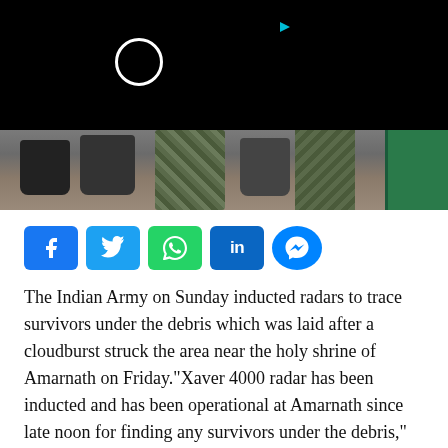[Figure (photo): Video thumbnail showing soldiers' boots and lower legs on rocky ground, with dark video overlay at top showing a play circle button and a cyan triangle indicator, and green bag/equipment visible at right edge.]
The Indian Army on Sunday inducted radars to trace survivors under the debris which was laid after a cloudburst struck the area near the holy shrine of Amarnath on Friday.“Xaver 4000 radar has been inducted and has been operational at Amarnath since late noon for finding any survivors under the debris,” said Indian Army official, India Lieutenant Governor (LG) of